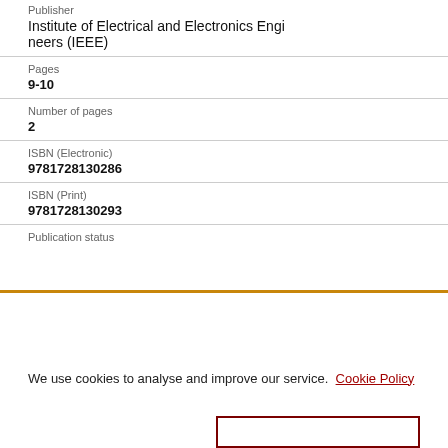Publisher
Institute of Electrical and Electronics Engineers (IEEE)
Pages
9-10
Number of pages
2
ISBN (Electronic)
9781728130286
ISBN (Print)
9781728130293
Publication status
We use cookies to analyse and improve our service. Cookie Policy